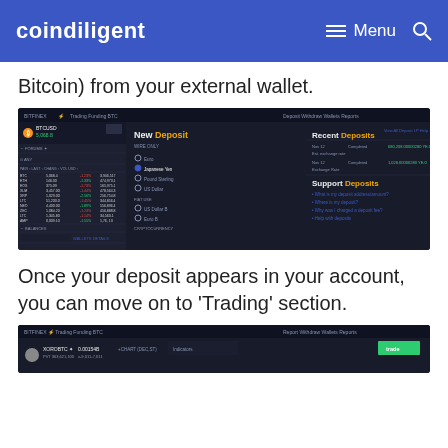coindiligent  ≡ Menu  🔍
Bitcoin) from your external wallet.
[Figure (screenshot): Bitfinex exchange interface showing New Deposit panel with deposit options including Yen, Japanese Yen, Pound Sterling, US Dollar, and cryptocurrency options. Recent Deposits section shows two completed deposits. Support Deposits section shows FAQ links.]
Once your deposit appears in your account, you can move on to 'Trading' section.
[Figure (screenshot): Bitfinex exchange trading interface screenshot showing the trading section with order book and chart.]